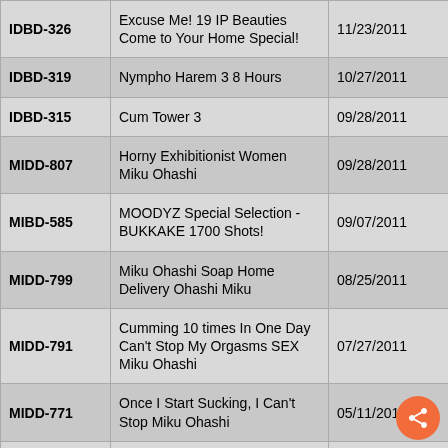| ID | Title | Date |
| --- | --- | --- |
| IDBD-326 | Excuse Me! 19 IP Beauties Come to Your Home Special! | 11/23/2011 |
| IDBD-319 | Nympho Harem 3 8 Hours | 10/27/2011 |
| IDBD-315 | Cum Tower 3 | 09/28/2011 |
| MIDD-807 | Horny Exhibitionist Women Miku Ohashi | 09/28/2011 |
| MIBD-585 | MOODYZ Special Selection - BUKKAKE 1700 Shots! | 09/07/2011 |
| MIDD-799 | Miku Ohashi Soap Home Delivery Ohashi Miku | 08/25/2011 |
| MIDD-791 | Cumming 10 times In One Day Can't Stop My Orgasms SEX Miku Ohashi | 07/27/2011 |
| MIDD-771 | Once I Start Sucking, I Can't Stop Miku Ohashi | 05/11/2011 |
| MIDD-740 | Sex On The Beach Miku Ohashi | 02/10/2011 |